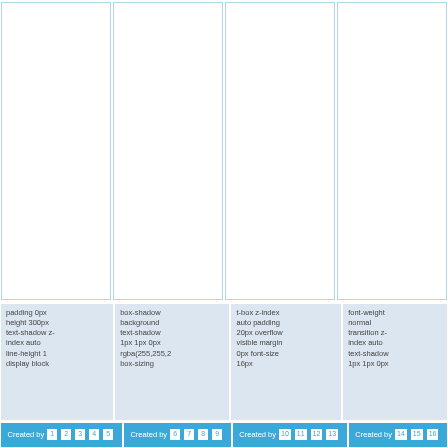[Figure (screenshot): Four white column boxes with light blue borders arranged side by side]
padding 0px height 300px text-shadow z-index auto line-height 1 display block
box-shadow background text-shadow 1px 1px 0px rgba(255,255,2 box-sizing
t-box z-index auto padding 20px overflow visible margin 0px font-size 16px
font-weight normal transition z-index auto text-shadow 1px 1px 0px
Created by 1 2 3 4 5
Created by 6 7 8 9
Created by 10 11 12 13
Created by 14 15 16